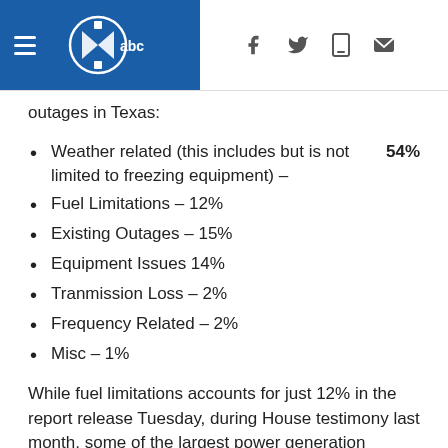WFAA ABC news header with hamburger menu, logo, and social icons (Facebook, Twitter, mobile, email)
outages in Texas:
Weather related (this includes but is not limited to freezing equipment) – 54%
Fuel Limitations – 12%
Existing Outages – 15%
Equipment Issues 14%
Tranmission Loss – 2%
Frequency Related – 2%
Misc – 1%
While fuel limitations accounts for just 12% in the report release Tuesday, during House testimony last month, some of the largest power generation companies, such as NRG, testified that a lack of fuel was the number one factor to blame.
"If the natural gas system is compromised, the power